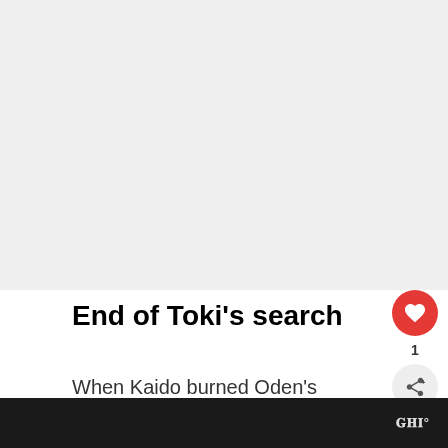[Figure (other): Gray blank area at top of page, likely placeholder for image]
End of Toki’s search
When Kaido burned Oden’s castle, Toki used her ability to travel through time to save Momonosuke, Kinemon, Raizo, Kanjuro, and Kikunojo.
W°